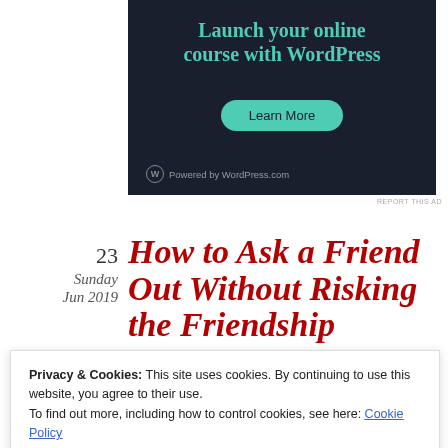[Figure (screenshot): Advertisement banner with dark background showing 'Launch your online course with WordPress' with a teal 'Learn More' button and 'Powered by WordPress.com' footer text.]
REPORT THIS AD
23
Sunday
Jun 2019
How to Ask a Friend Out Without Risking the Friendship
Privacy & Cookies: This site uses cookies. By continuing to use this website, you agree to their use.
To find out more, including how to control cookies, see here: Cookie Policy
Close and accept